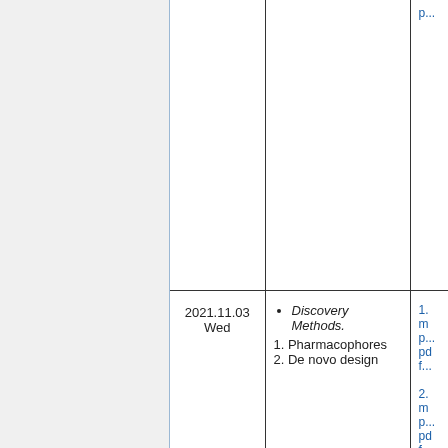|  | Date | Topic | Links |
| --- | --- | --- | --- |
|  |  |  | p... |
|  | 2021.11.03
Wed | • Discovery Methods.
1. Pharmacophores
2. De novo design | 1. mp...
pdf...
2. mp...
pdf... |